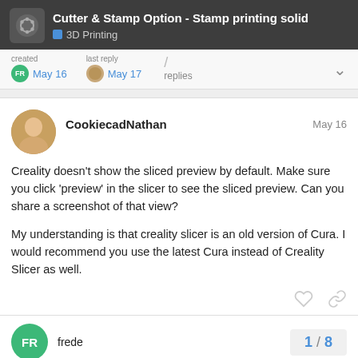Cutter & Stamp Option - Stamp printing solid | 3D Printing
created May 16  last reply May 17  / replies
CookiecadNathan  May 16

Creality doesn't show the sliced preview by default. Make sure you click 'preview' in the slicer to see the sliced preview. Can you share a screenshot of that view?

My understanding is that creality slicer is an old version of Cura. I would recommend you use the latest Cura instead of Creality Slicer as well.
frede  1 / 8